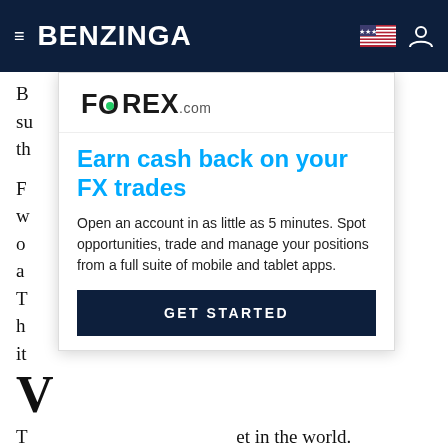BENZINGA
B... ou must be su... ssible jumps at th...
F... er the w... s are closed o... ntinue to flow a... ng Monday. T... sually keeps h... days, although it...
[Figure (advertisement): FOREX.com advertisement with logo, headline 'Earn cash back on your FX trades', subtext 'Open an account in as little as 5 minutes. Spot opportunities, trade and manage your positions from a full suite of mobile and tablet apps.', and a GET STARTED button]
V
T... et in the world. Liquidity means that trading is easy. Forex's liquidity attracts mainstream investors who are looking for